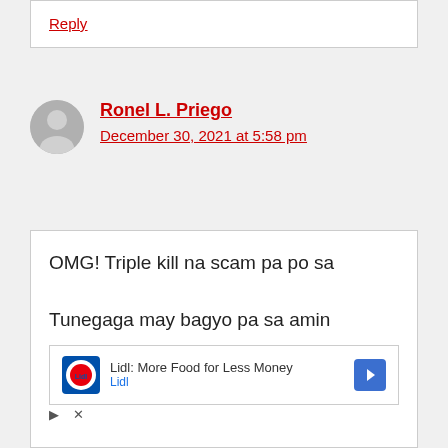Reply
Ronel L. Priego
December 30, 2021 at 5:58 pm
OMG! Triple kill na scam pa po sa Tunegaga may bagyo pa sa amin
[Figure (other): Lidl advertisement: 'Lidl: More Food for Less Money' with Lidl logo and navigation arrow icon]